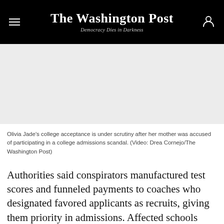The Washington Post — Democracy Dies in Darkness
[Figure (photo): Video player placeholder area, light gray background]
Olivia Jade's college acceptance is under scrutiny after her mother was accused of participating in a college admissions scandal. (Video: Drea Cornejo/The Washington Post)
Authorities said conspirators manufactured test scores and funneled payments to coaches who designated favored applicants as recruits, giving them priority in admissions. Affected schools said they were reviewing